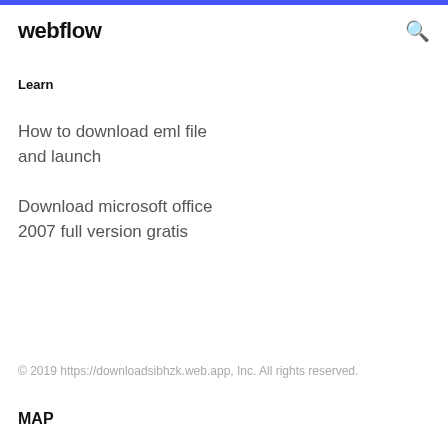webflow
Learn
How to download eml file and launch
Download microsoft office 2007 full version gratis
© 2019 https://downloadsibhzk.web.app, Inc. All rights reserved.
MAP